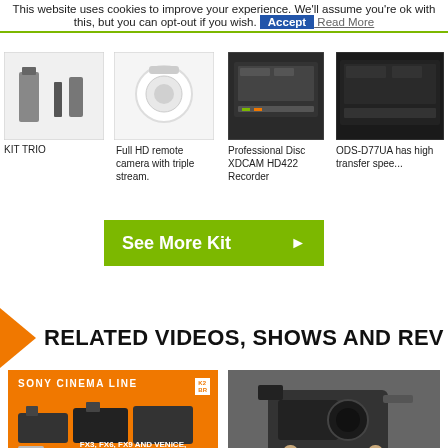This website uses cookies to improve your experience. We'll assume you're ok with this, but you can opt-out if you wish. Accept Read More
[Figure (photo): KIT TRIO product photo - wireless transmitter/receiver kit on white background]
KIT TRIO
[Figure (photo): Full HD remote camera with triple stream - white PTZ camera on white background]
Full HD remote camera with triple stream.
[Figure (photo): Professional Disc XDCAM HD422 Recorder on dark background]
Professional Disc XDCAM HD422 Recorder
[Figure (photo): ODS-D77UA device with high transfer speed]
ODS-D77UA has high transfer spee...
See More Kit
RELATED VIDEOS, SHOWS AND REV
[Figure (photo): Sony Cinema Line promotional image with orange background showing FX3, FX6, FX9 and Venice cameras - text reads SONY CINEMA LINE and FX3, FX6, FX9 AND VENICE, WHAT IT ALL MEANS]
Sony Venice, FX3, FX6 and FX9 explained
[Figure (photo): Sony HXR-MC88 palm-sized camcorder being held by a person]
Sony HXR-MC88 palm-sized camcorder shown plus UWP series wireless transmission at NAB 2019